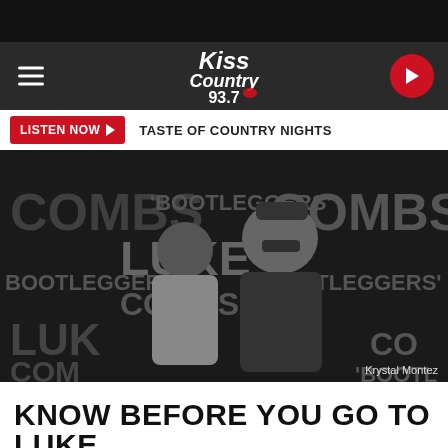[Figure (screenshot): Kiss Country 93.7 radio station mobile website screenshot showing navigation header with hamburger menu, Kiss Country 93.7 logo, and red circular play button. A 'LISTEN NOW' button bar below shows 'TASTE OF COUNTRY NIGHTS'. The main image shows two people posing in front of a Luke Combs 'Bootleggers' event backdrop. Photo credit: Krystal Montez.]
KNOW BEFORE YOU GO TO LUKE